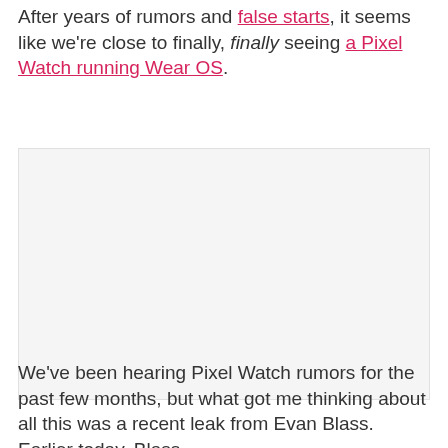After years of rumors and false starts, it seems like we're close to finally, finally seeing a Pixel Watch running Wear OS.
[Figure (photo): Image placeholder area, likely showing a Pixel Watch or related product image]
We've been hearing Pixel Watch rumors for the past few months, but what got me thinking about all this was a recent leak from Evan Blass. Earlier today, Blass...